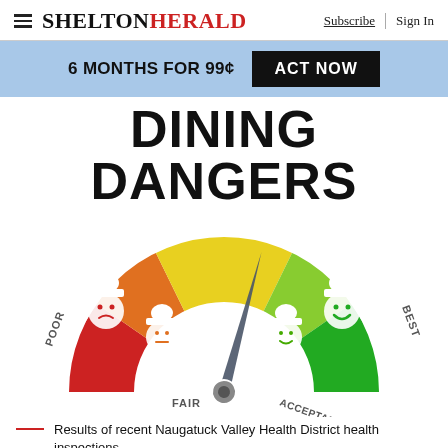SHELTONHERALD — Subscribe | Sign In
6 MONTHS FOR 99¢  ACT NOW
DINING DANGERS
[Figure (infographic): A semicircular gauge/meter showing restaurant health inspection ratings from POOR (red, sad face with chef hat) to FAIR (orange, neutral face with chef hat) to yellow (center) to ACCEPTABLE (light green, slightly happy face with chef hat) to BEST (dark green, happy face with chef hat). A needle/pointer is pointing slightly right of center toward the yellow-green zone. Labels POOR, FAIR, ACCEPTABLE, BEST are around the gauge arc.]
Results of recent Naugatuck Valley Health District health inspections.
Contributed photo